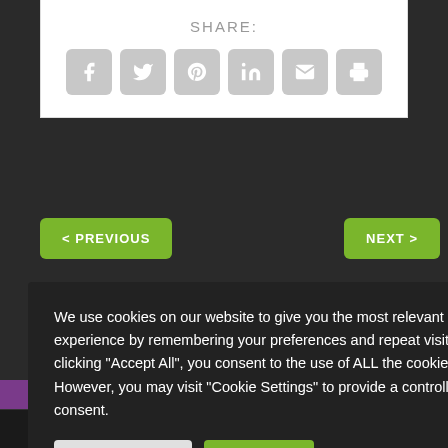SHARE:
[Figure (infographic): Row of 6 social share icon buttons (Facebook, Twitter, Pinterest, LinkedIn, Email, Print) in grey rounded squares]
< PREVIOUS
NEXT >
Tech Learning: An with the founders of Project Gnosis
We use cookies on our website to give you the most relevant experience by remembering your preferences and repeat visits. By clicking "Accept All", you consent to the use of ALL the cookies. However, you may visit "Cookie Settings" to provide a controlled consent.
Cookie Settings
Accept All
Share This
×